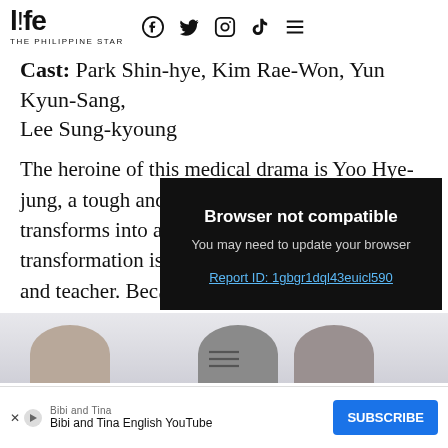life THE PHILIPPINE STAR
Cast: Park Shin-hye, Kim Rae-Won, Yun Kyun-Sang, Lee Sung-kyoung
The heroine of this medical drama is Yoo Hye-jung, a tough and problematic teen who transforms into a compassionate a[nd... ]transformation is[... ]and teacher. Bec[ause... ]life changed for t[he...]
[Figure (screenshot): Browser not compatible overlay on top of article text. Overlay reads: 'Browser not compatible / You may need to update your browser / Report ID: 1gbgr1dql43euicl590']
[Figure (photo): Partial photo strip at bottom showing tops of heads of Korean drama cast members]
Bibi and Tina
Bibi and Tina English YouTube
SUBSCRIBE